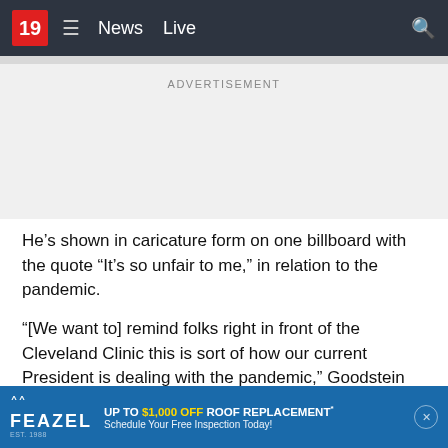19  News  Live
ADVERTISEMENT
He's shown in caricature form on one billboard with the quote “It’s so unfair to me,” in relation to the pandemic.
“[We want to] remind folks right in front of the Cleveland Clinic this is sort of how our current President is dealing with the pandemic,” Goodstein said.
“Free Ohio Now” says there are several watch parties scheduled for the debate, and they feel President Trump’s record
[Figure (infographic): Feazel roofing advertisement banner: UP TO $1,000 OFF ROOF REPLACEMENT* Schedule Your Free Inspection Today!]